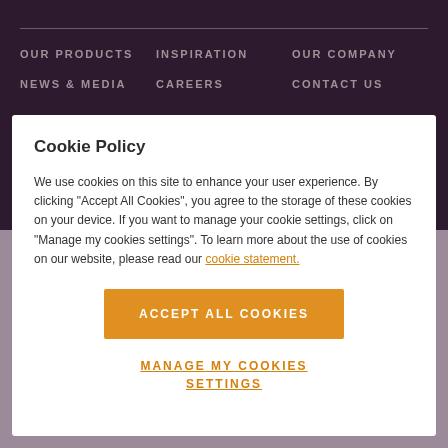OUR PRODUCTS   INSPIRATION   OUR COMPANY   NEWS & MEDIA   CAREERS   CONTACT US
Cookie Policy
We use cookies on this site to enhance your user experience. By clicking "Accept All Cookies", you agree to the storage of these cookies on your device. If you want to manage your cookie settings, click on "Manage my cookies settings". To learn more about the use of cookies on our website, please read our cookie statement.
Accept all cookies
Manage my cookies settings